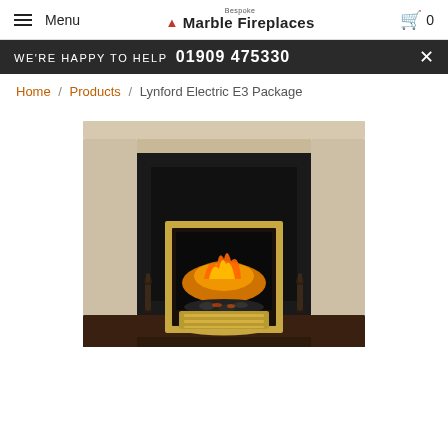Menu | Bespoke Marble Fireplaces | Cart 0
WE'RE HAPPY TO HELP 01909 475330
Home / Products / Lynford Electric E3 Package
[Figure (photo): Product photo of the Lynford Electric E3 Package fireplace — a cream/beige marble mantel surround with dark espresso base hearth, black back panel, and a gold-framed electric fire insert with glowing orange flame effect and decorative coal bed. Two small dark figurine ornaments flank the fire opening.]